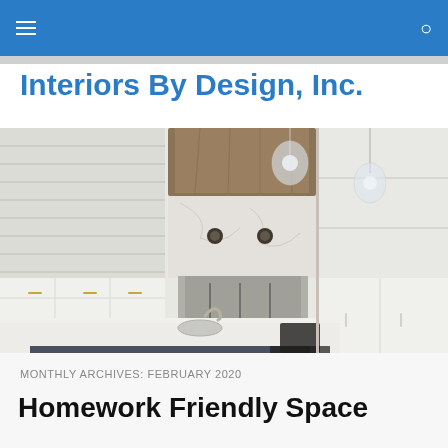Interiors By Design, Inc. — navigation bar
Interiors By Design, Inc.
[Figure (photo): Interior kitchen photo showing white cabinets, marble backsplash, large island with sink, stainless steel range with hood, crystal pendant lights, and dark bar stools]
MONTHLY ARCHIVES: FEBRUARY 2020
Homework Friendly Space